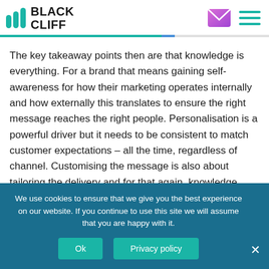BLACK CLIFF
The key takeaway points then are that knowledge is everything. For a brand that means gaining self-awareness for how their marketing operates internally and how externally this translates to ensure the right message reaches the right people. Personalisation is a powerful driver but it needs to be consistent to match customer expectations – all the time, regardless of channel. Customising the message is also about tailoring the delivery and for that again, knowledge concerning the best means to reach the recipient is key.
We use cookies to ensure that we give you the best experience on our website. If you continue to use this site we will assume that you are happy with it.
Ok
Privacy policy